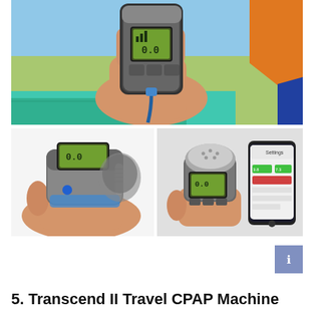[Figure (photo): A hand holding a small portable CPAP device with a green LCD display showing '0.0', outdoors near a tent on grass in the background.]
[Figure (photo): A hand holding a small gray travel CPAP machine with a blue indicator light and green LCD display.]
[Figure (photo): A hand holding a small portable CPAP device next to a smartphone showing a monitoring app with green and red bars.]
5. Transcend II Travel CPAP Machine